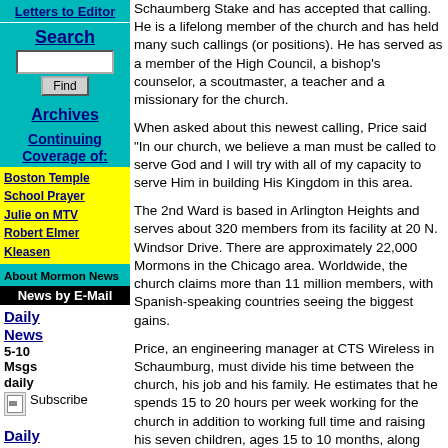Letters to Editor
Search
Archives
Continuing Coverage of:
Boston Temple
School Prayer
Julie on MTV
Robert Elmer Kleasen
About Mormon News
News by E-Mail
Daily News 5-10 Msgs daily Subscribe
Daily Digest 1-2
Schaumberg Stake and has accepted that calling... He is a lifelong member of the church and has held many such callings (or positions). He has served as a member of the High Council, a bishop's counselor, a scoutmaster, a teacher and a missionary for the church.
When asked about this newest calling, Price said "In our church, we believe a man must be called to serve God and I will try with all of my capacity to serve Him in building His Kingdom in this area.
The 2nd Ward is based in Arlington Heights and serves about 320 members from its facility at 20 N. Windsor Drive. There are approximately 22,000 Mormons in the Chicago area. Worldwide, the church claims more than 11 million members, with Spanish-speaking countries seeing the biggest gains.
Price, an engineering manager at CTS Wireless in Schaumburg, must divide his time between the church, his job and his family. He estimates that he spends 15 to 20 hours per week working for the church in addition to working full time and raising his seven children, ages 15 to 10 months, along